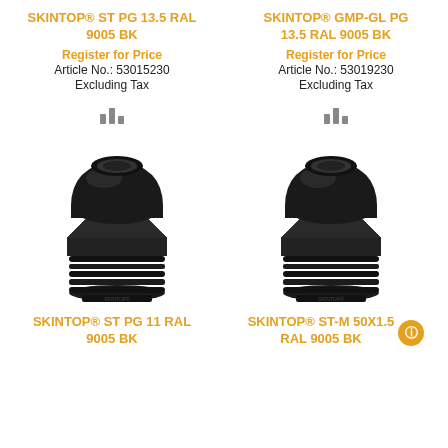SKINTOP® ST PG 13.5 RAL 9005 BK
Register for Price
Article No.: 53015230
Excluding Tax
SKINTOP® GMP-GL PG 13.5 RAL 9005 BK
Register for Price
Article No.: 53019230
Excluding Tax
[Figure (photo): Black plastic cable gland SKINTOP ST PG 11 RAL 9005 BK with threaded body and dome top]
[Figure (photo): Black plastic cable gland SKINTOP ST-M 50X1.5 RAL 9005 BK with threaded body and dome top]
SKINTOP® ST PG 11 RAL 9005 BK
SKINTOP® ST-M 50X1.5 RAL 9005 BK